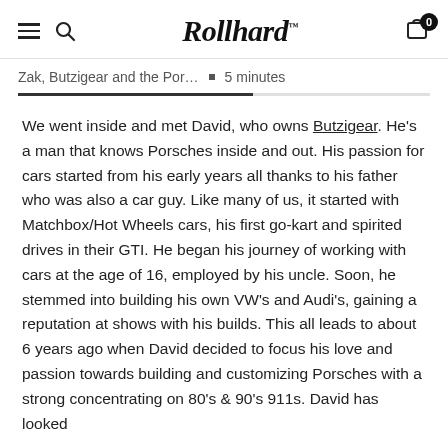Rollhard
Zak, Butzigear and the Por…  ▪  5 minutes
We went inside and met David, who owns Butzigear. He's a man that knows Porsches inside and out. His passion for cars started from his early years all thanks to his father who was also a car guy. Like many of us, it started with Matchbox/Hot Wheels cars, his first go-kart and spirited drives in their GTI. He began his journey of working with cars at the age of 16, employed by his uncle. Soon, he stemmed into building his own VW's and Audi's, gaining a reputation at shows with his builds. This all leads to about 6 years ago when David decided to focus his love and passion towards building and customizing Porsches with a strong concentrating on 80's & 90's 911s. David has looked